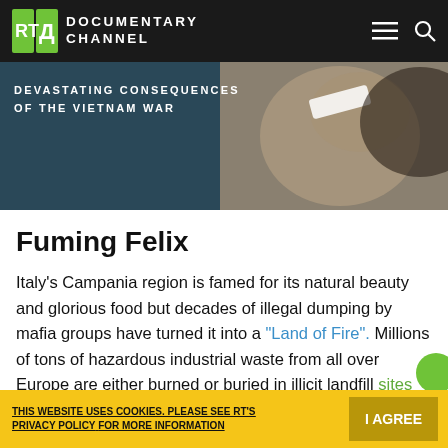[Figure (screenshot): RT Documentary Channel navigation bar with logo and hamburger/search icons on dark background]
[Figure (photo): Hero image showing a person with text overlay reading 'DEVASTATING CONSEQUENCES OF THE VIETNAM WAR']
Fuming Felix
Italy's Campania region is famed for its natural beauty and glorious food but decades of illegal dumping by mafia groups have turned it into a "Land of Fire". Millions of tons of hazardous industrial waste from all over Europe are either burned or buried in illicit landfill sites
THIS WEBSITE USES COOKIES. PLEASE SEE RT'S PRIVACY POLICY FOR MORE INFORMATION  I AGREE